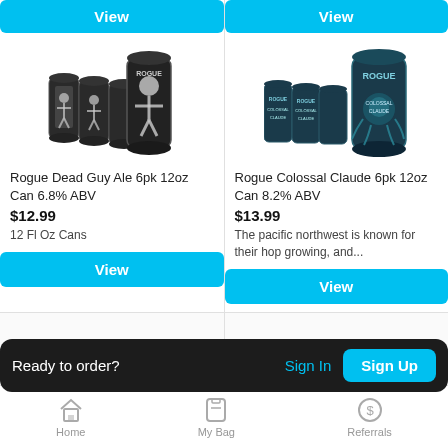[Figure (screenshot): Mobile app screenshot showing two beer product listings side by side with View buttons, a 'Ready to order?' sign-in bar, and bottom navigation with Home, My Bag, Referrals icons.]
Rogue Dead Guy Ale 6pk 12oz Can 6.8% ABV
$12.99
12 Fl Oz Cans
Rogue Colossal Claude 6pk 12oz Can 8.2% ABV
$13.99
The pacific northwest is known for their hop growing, and...
Ready to order?
Sign In
Sign Up
Home   My Bag   Referrals